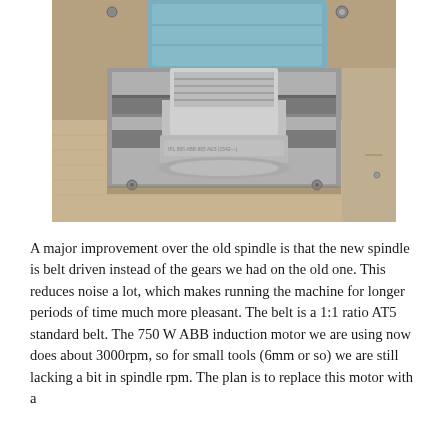[Figure (photo): Close-up photograph of a CNC spindle assembly — a large threaded metal spindle/collet nut seated in a rectangular aluminum block, with a blue motor housing visible at the top. The block sits on a wooden surface.]
A major improvement over the old spindle is that the new spindle is belt driven instead of the gears we had on the old one. This reduces noise a lot, which makes running the machine for longer periods of time much more pleasant. The belt is a 1:1 ratio AT5 standard belt. The 750 W ABB induction motor we are using now does about 3000rpm, so for small tools (6mm or so) we are still lacking a bit in spindle rpm. The plan is to replace this motor with a